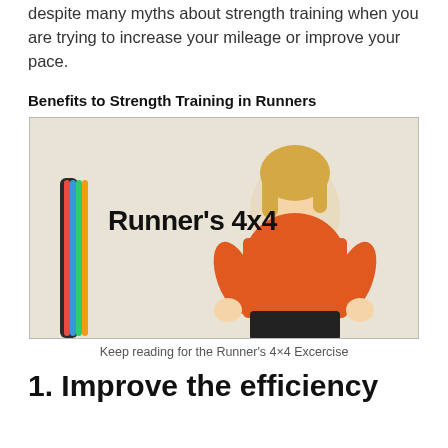despite many myths about strength training when you are trying to increase your mileage or improve your pace.
Benefits to Strength Training in Runners
[Figure (photo): Woman in orange shirt standing with hands on hips next to resistance bands, with text 'Runner's 4x4' overlaid on the left side of the image.]
Keep reading for the Runner's 4×4 Excercise
1. Improve the efficiency